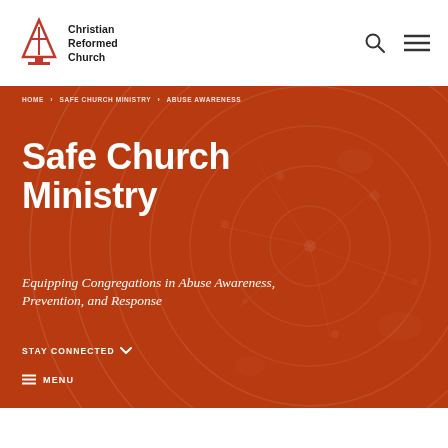Christian Reformed Church
HOME > SAFE CHURCH MINISTRY > ABUSE AWARENESS
Safe Church Ministry
Equipping Congregations in Abuse Awareness, Prevention, and Response
STAY CONNECTED
MENU